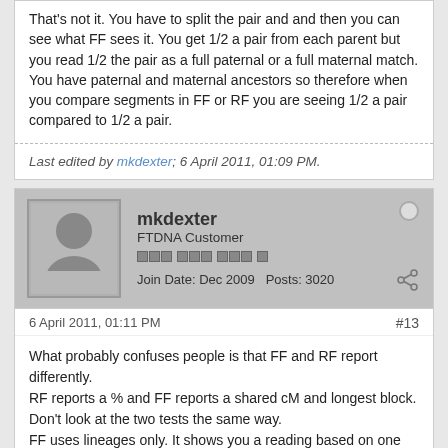That's not it. You have to split the pair and and then you can see what FF sees it. You get 1/2 a pair from each parent but you read 1/2 the pair as a full paternal or a full maternal match. You have paternal and maternal ancestors so therefore when you compare segments in FF or RF you are seeing 1/2 a pair compared to 1/2 a pair.
Last edited by mkdexter; 6 April 2011, 01:09 PM.
mkdexter
FTDNA Customer
Join Date: Dec 2009  Posts: 3020
6 April 2011, 01:11 PM
#13
What probably confuses people is that FF and RF report differently.
RF reports a % and FF reports a shared cM and longest block.
Don't look at the two tests the same way.
FF uses lineages only. It shows you a reading based on one lineage, not the pair, not both lineages.
MD.